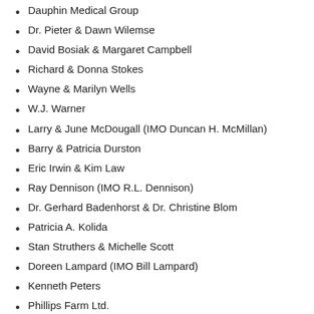Dauphin Medical Group
Dr. Pieter & Dawn Wilemse
David Bosiak & Margaret Campbell
Richard & Donna Stokes
Wayne & Marilyn Wells
W.J. Warner
Larry & June McDougall (IMO Duncan H. McMillan)
Barry & Patricia Durston
Eric Irwin & Kim Law
Ray Dennison (IMO R.L. Dennison)
Dr. Gerhard Badenhorst & Dr. Christine Blom
Patricia A. Kolida
Stan Struthers & Michelle Scott
Doreen Lampard (IMO Bill Lampard)
Kenneth Peters
Phillips Farm Ltd.
Rose Quirie (IMO Jack Quiries)
Dr. Melanie Maredith